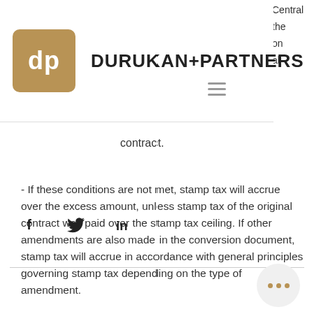[Figure (logo): Durukan+Partners logo with gold square containing 'dp' and company name text]
Central the on al
contract.
- If these conditions are not met, stamp tax will accrue over the excess amount, unless stamp tax of the original contract was paid over the stamp tax ceiling. If other amendments are also made in the conversion document,  stamp tax will accrue in accordance with general principles governing stamp tax depending on the type of amendment.
[Figure (other): Social media icons: Facebook (f), Twitter (bird), LinkedIn (in)]